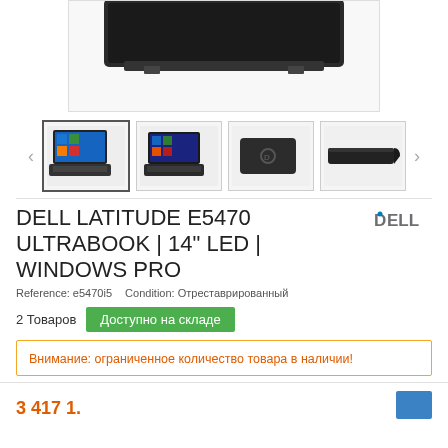[Figure (photo): Top/partially visible main product image of Dell Latitude laptop, close-up of the lid top edge, dark gray]
[Figure (photo): Thumbnail carousel with 4 thumbnail images of the Dell Latitude E5470 laptop from different angles (front open, front open dark, back, side closed), with left and right navigation arrows]
DELL LATITUDE E5470 ULTRABOOK | 14" LED | WINDOWS PRO
[Figure (logo): DELL logo in dark gray]
Reference: e5470i5   Condition: Отреставрированный
2 Товаров
Доступно на складе
Внимание: ограниченное количество товара в наличии!